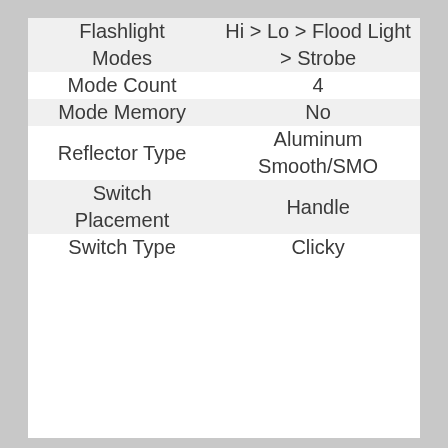|  |  |
| --- | --- |
| Flashlight Modes | Hi > Lo > Flood Light > Strobe |
| Mode Count | 4 |
| Mode Memory | No |
| Reflector Type | Aluminum Smooth/SMO |
| Switch Placement | Handle |
| Switch Type | Clicky |